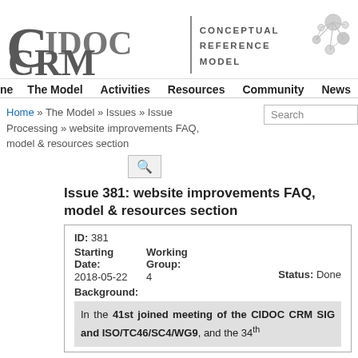[Figure (logo): CIDOC CRM Conceptual Reference Model logo with network graphic]
Home  The Model  Activities  Resources  Community  News
Home » The Model » Issues » Issue Processing » website improvements FAQ, model & resources section
Issue 381: website improvements FAQ, model & resources section
| ID: 381 |  |  |
| Starting Date: | Working Group: |  |
| 2018-05-22 | 4 | Status: Done |
| Background: |  |  |
In the 41st joined meeting of the CIDOC CRM SIG and ISO/TC46/SC4/WG9, and the 34th...